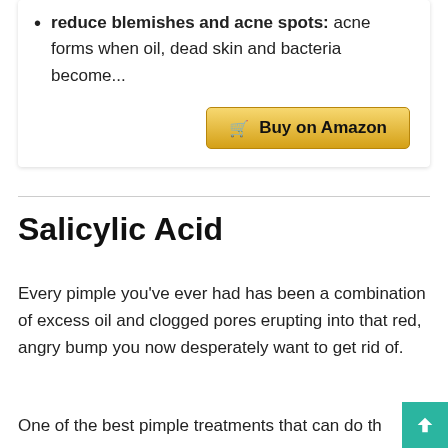reduce blemishes and acne spots: acne forms when oil, dead skin and bacteria become...
Buy on Amazon
Salicylic Acid
Every pimple you've ever had has been a combination of excess oil and clogged pores erupting into that red, angry bump you now desperately want to get rid of.
One of the best pimple treatments that can do th